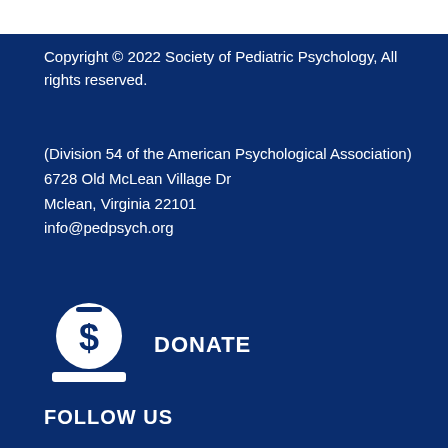Copyright © 2022 Society of Pediatric Psychology, All rights reserved.
(Division 54 of the American Psychological Association)
6728 Old McLean Village Dr
Mclean, Virginia 22101
info@pedpsych.org
[Figure (illustration): White circular icon with a dollar sign coin being deposited into a slot on a flat surface, representing a donation/payment icon]
DONATE
FOLLOW US